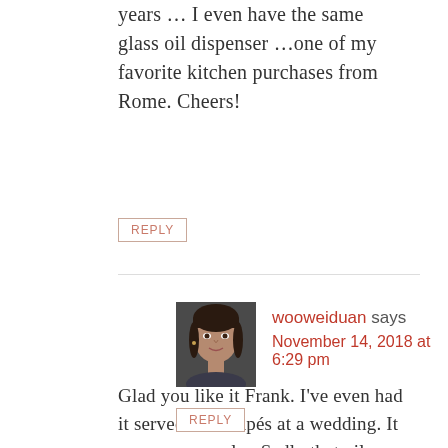years … I even have the same glass oil dispenser …one of my favorite kitchen purchases from Rome. Cheers!
REPLY
[Figure (photo): Profile photo of commenter wooweiduan — a woman with dark hair]
wooweiduan says
November 14, 2018 at 6:29 pm
Glad you like it Frank. I've even had it served as canapés at a wedding. It was very popular. Sadly that oil dispenser was broken. I need to replace it soon.
REPLY